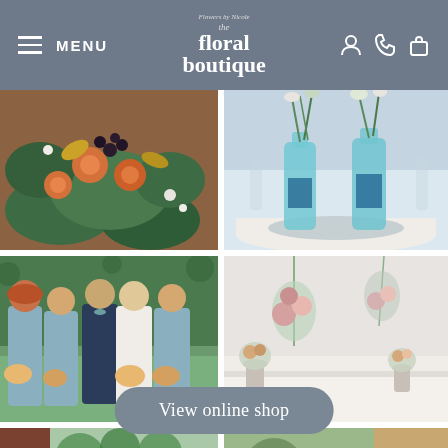the floral boutique — MENU
[Figure (photo): Close-up of a lush bridal bouquet with orange roses, dark berries, and greenery]
[Figure (photo): Table centerpiece with gin bottles used as flower vases on a mirror base at a wedding reception]
[Figure (photo): Wedding party group photo: bridesmaids in sage green dresses holding bouquets with groom in navy suit]
[Figure (photo): White backdrop with cascading floral arrangements and small vase clusters on a table]
[Figure (photo): Partial view of outdoor wedding decoration with greenery]
View online shop